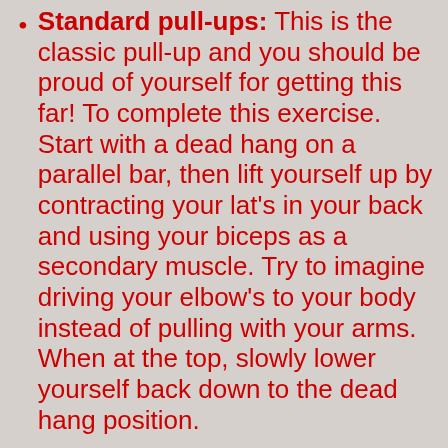Standard pull-ups: This is the classic pull-up and you should be proud of yourself for getting this far! To complete this exercise. Start with a dead hang on a parallel bar, then lift yourself up by contracting your lat's in your back and using your biceps as a secondary muscle. Try to imagine driving your elbow's to your body instead of pulling with your arms. When at the top, slowly lower yourself back down to the dead hang position.
Band assisted Dip: The band-assisted dip is for those who can not yet do a full-body dip weight dip but have moved on from performing a triceps dip. Perform by applying a